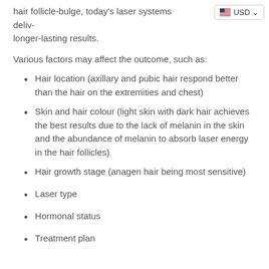hair follicle-bulge, today's laser systems deliver longer-lasting results.
[Figure (screenshot): USD currency selector badge with US flag icon and dropdown arrow]
Various factors may affect the outcome, such as:
Hair location (axillary and pubic hair respond better than the hair on the extremities and chest)
Skin and hair colour (light skin with dark hair achieves the best results due to the lack of melanin in the skin and the abundance of melanin to absorb laser energy in the hair follicles)
Hair growth stage (anagen hair being most sensitive)
Laser type
Hormonal status
Treatment plan